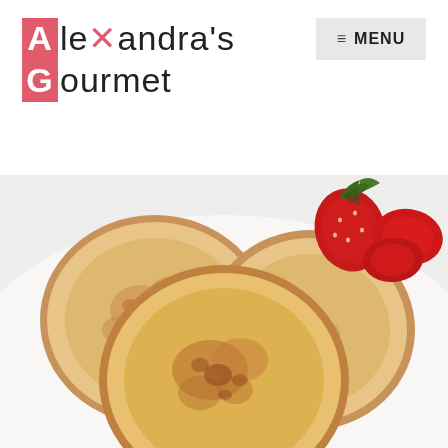[Figure (logo): Alexandra's Gourmet logo with pink/red square letter boxes for A and G, with decorative fork/knife icon replacing the 'x']
[Figure (other): Menu button with hamburger icon and MENU text on light grey background]
[Figure (photo): Three golden-brown pancakes on a white plate with fresh strawberries in the upper right corner]